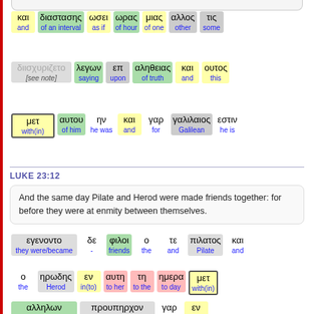και διαστασης ωσει ωρας μιας αλλος τις / and of an interval as if of hour of one other some
διισχυριζετο [see note] λεγων επ αληθειας και ουτος / saying upon of truth and this
μετ αυτου ην και γαρ γαλιλαιος εστιν / with(in) of him he was and for Galilean he is
LUKE 23:12
And the same day Pilate and Herod were made friends together: for before they were at enmity between themselves.
εγενοντο δε φιλοι ο τε πιλατος και / they were/became - friends the and Pilate and
ο ηρωδης εν αυτη τη ημερα μετ / the Herod in(to) to her to the to day with(in)
αλληλων προυπηρχον γαρ εν / of one another they were being priorly for in(to)